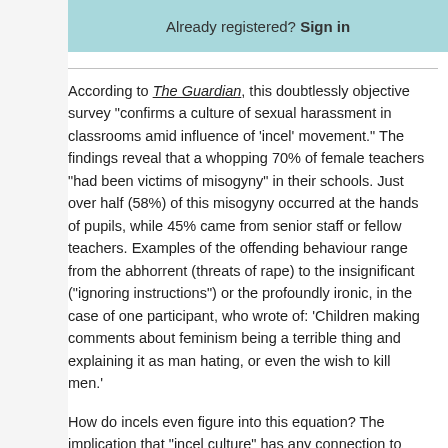Already registered? Sign in
According to The Guardian, this doubtlessly objective survey “confirms a culture of sexual harassment in classrooms amid influence of ‘incel’ movement.” The findings reveal that a whopping 70% of female teachers “had been victims of misogyny” in their schools. Just over half (58%) of this misogyny occurred at the hands of pupils, while 45% came from senior staff or fellow teachers. Examples of the offending behaviour range from the abhorrent (threats of rape) to the insignificant (“ignoring instructions”) or the profoundly ironic, in the case of one participant, who wrote of: ‘Children making comments about feminism being a terrible thing and explaining it as man hating, or even the wish to kill men.’
How do incels even figure into this equation? The implication that “incel culture” has any connection to